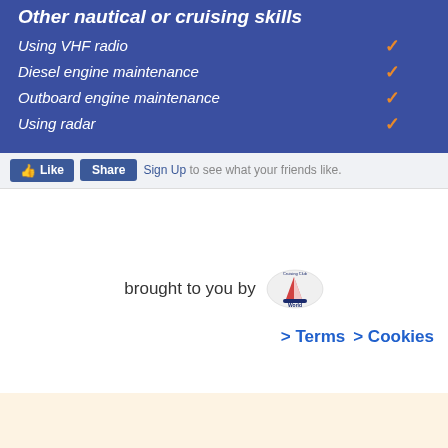Other nautical or cruising skills
Using VHF radio ✓
Diesel engine maintenance ✓
Outboard engine maintenance ✓
Using radar ✓
[Figure (screenshot): Facebook Like and Share buttons with 'Sign Up to see what your friends like.' text]
brought to you by [World Cruising Club logo]
> Terms  > Cookies
[Figure (illustration): Orange cartoon character partially visible at bottom right corner]